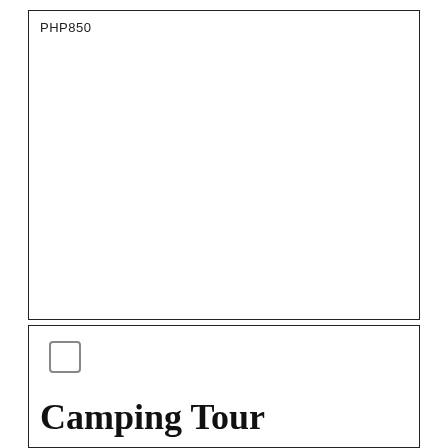PHP850
[Figure (other): Empty white box with border, upper portion of page]
[Figure (other): Checkbox (empty square) in lower box section]
Camping Tour